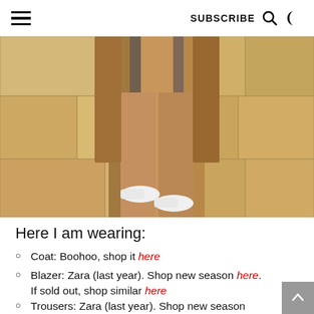☰  SUBSCRIBE 🔍 🌙
[Figure (photo): Lower body photo of a person wearing camel/tan wide-leg trousers, a brown textured coat, and white sneakers, standing on stone pavement.]
Here I am wearing:
Coat: Boohoo, shop it here
Blazer: Zara (last year). Shop new season here. If sold out, shop similar here
Trousers: Zara (last year). Shop new season